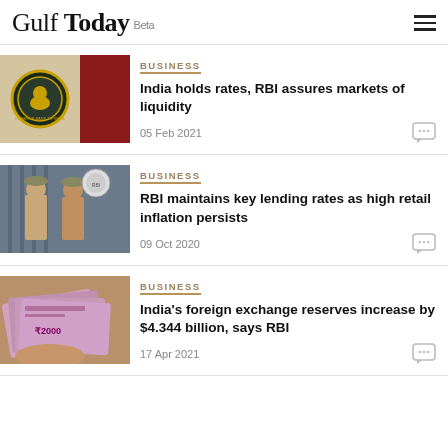Gulf Today Beta
BUSINESS
India holds rates, RBI assures markets of liquidity
05 Feb 2021
BUSINESS
RBI maintains key lending rates as high retail inflation persists
09 Oct 2020
BUSINESS
India's foreign exchange reserves increase by $4.344 billion, says RBI
17 Apr 2021